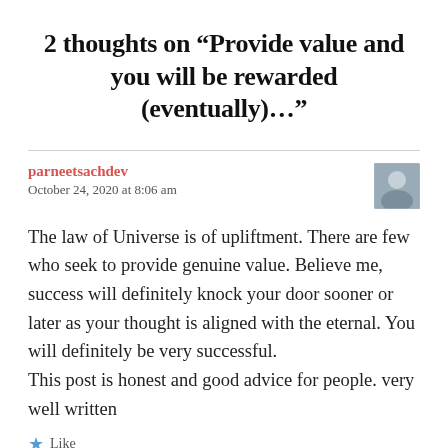2 thoughts on “Provide value and you will be rewarded (eventually)…”
parneetsachdev
October 24, 2020 at 8:06 am
The law of Universe is of upliftment. There are few who seek to provide genuine value. Believe me, success will definitely knock your door sooner or later as your thought is aligned with the eternal. You will definitely be very successful.
This post is honest and good advice for people. very well written
Like